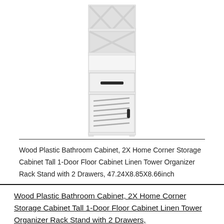[Figure (photo): White wood plastic bathroom cabinet tower with X-pattern decorative top shelves, one drawer with black handle, and one door with louvered slats and black handle]
Wood Plastic Bathroom Cabinet, 2X Home Corner Storage Cabinet Tall 1-Door Floor Cabinet Linen Tower Organizer Rack Stand with 2 Drawers, 47.24X8.85X8.66inch
Wood Plastic Bathroom Cabinet, 2X Home Corner Storage Cabinet Tall 1-Door Floor Cabinet Linen Tower Organizer Rack Stand with 2 Drawers,